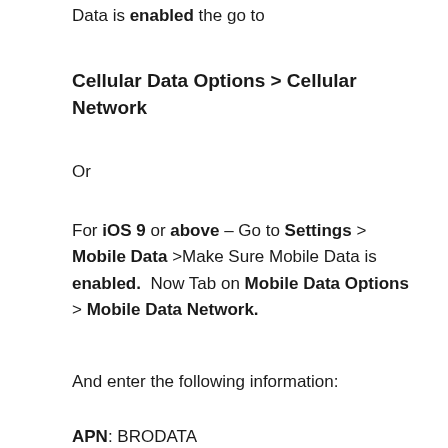Data is enabled the go to
Cellular Data Options > Cellular Network
Or
For iOS 9 or above – Go to Settings > Mobile Data >Make Sure Mobile Data is enabled.  Now Tab on Mobile Data Options > Mobile Data Network.
And enter the following information:
APN: BRODATA